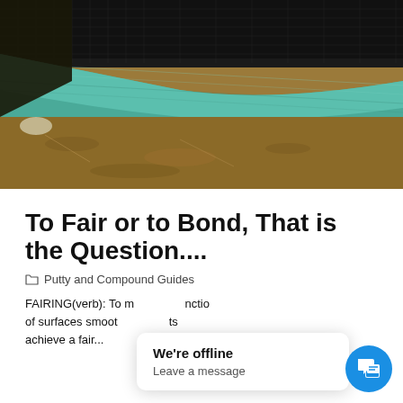[Figure (photo): Close-up photo of a boat hull surface showing layers of material — black mesh/fabric at top, teal/green fairing compound in the middle, and brown/tan epoxy or filler surface below. The texture shows fibrous material and compound layers typical of marine fairing work.]
To Fair or to Bond, That is the Question....
Putty and Compound Guides
FAIRING(verb): To make the junction of surfaces smooth... achieve a fair...
We're offline
Leave a message